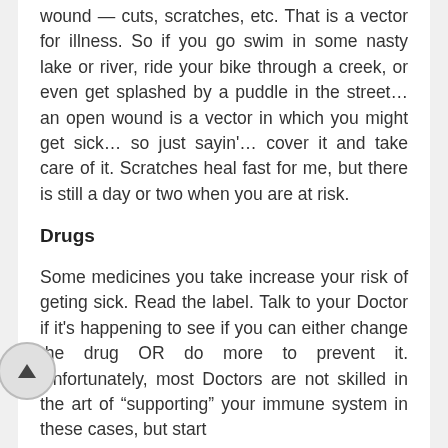wound — cuts, scratches, etc. That is a vector for illness. So if you go swim in some nasty lake or river, ride your bike through a creek, or even get splashed by a puddle in the street... an open wound is a vector in which you might get sick... so just sayin'... cover it and take care of it. Scratches heal fast for me, but there is still a day or two when you are at risk.
Drugs
Some medicines you take increase your risk of geting sick. Read the label. Talk to your Doctor if it's happening to see if you can either change the drug OR do more to prevent it. Unfortunately, most Doctors are not skilled in the art of "supporting" your immune system in these cases, but start